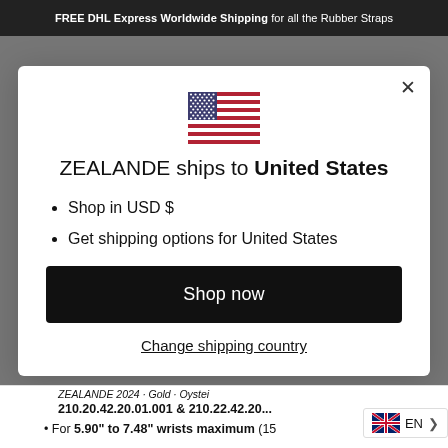FREE DHL Express Worldwide Shipping for all the Rubber Straps
[Figure (illustration): US flag emoji/icon centered in modal dialog]
ZEALANDE ships to United States
Shop in USD $
Get shipping options for United States
Shop now
Change shipping country
210.20.42.20.01.001 & 210.22.42.20...
For 5.90" to 7.48" wrists maximum (15...